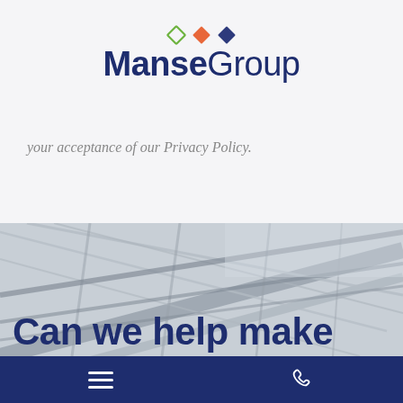[Figure (logo): ManseGroup logo with three diamond shapes (green outline, orange filled, blue filled) above the text 'ManseGroup' in dark navy blue bold font]
your acceptance of our Privacy Policy.
[Figure (photo): Grayscale photo of a building roof/structure with glass panels and metal framing, viewed from below at an angle]
Can we help make
Navigation bar with hamburger menu icon and phone icon on dark navy blue background